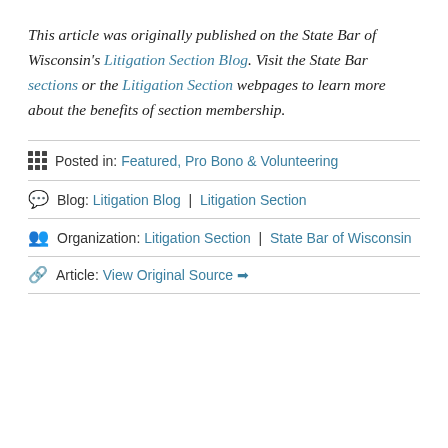This article was originally published on the State Bar of Wisconsin's Litigation Section Blog. Visit the State Bar sections or the Litigation Section webpages to learn more about the benefits of section membership.
Posted in: Featured, Pro Bono & Volunteering
Blog: Litigation Blog | Litigation Section
Organization: Litigation Section | State Bar of Wisconsin
Article: View Original Source ➡